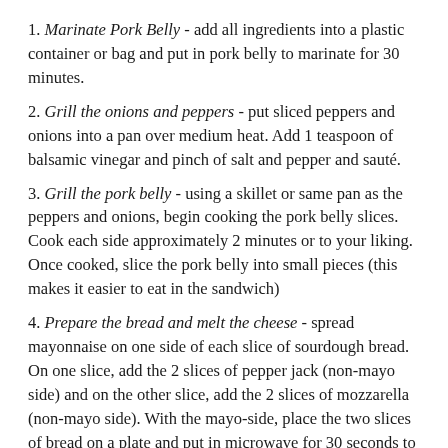1. Marinate Pork Belly - add all ingredients into a plastic container or bag and put in pork belly to marinate for 30 minutes.
2. Grill the onions and peppers - put sliced peppers and onions into a pan over medium heat. Add 1 teaspoon of balsamic vinegar and pinch of salt and pepper and sauté.
3. Grill the pork belly - using a skillet or same pan as the peppers and onions, begin cooking the pork belly slices. Cook each side approximately 2 minutes or to your liking. Once cooked, slice the pork belly into small pieces (this makes it easier to eat in the sandwich)
4. Prepare the bread and melt the cheese - spread mayonnaise on one side of each slice of sourdough bread. On one slice, add the 2 slices of pepper jack (non-mayo side) and on the other slice, add the 2 slices of mozzarella (non-mayo side). With the mayo-side, place the two slices of bread on a plate and put in microwave for 30 seconds to melt the cheese.